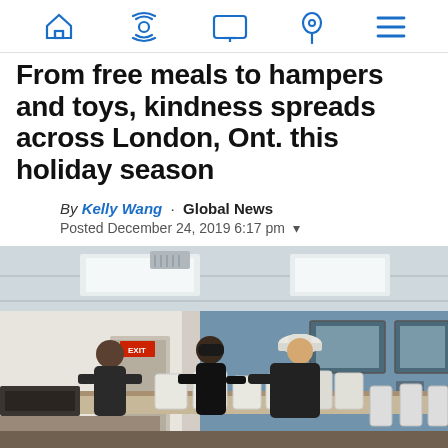Navigation bar with home, radio/live, screen/notification, location, and menu icons
From free meals to hampers and toys, kindness spreads across London, Ont. this holiday season
By Kelly Wang · Global News
Posted December 24, 2019 6:17 pm
[Figure (photo): Indoor scene showing people in a restaurant or community kitchen. A person wearing a white cap and dark jacket leans over a counter handling white bags. Two other people stand nearby. The room has blue walls, framed pictures, and white chairs in the background.]